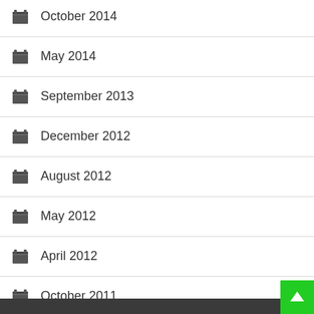October 2014
May 2014
September 2013
December 2012
August 2012
May 2012
April 2012
October 2011
May 2011
November 2010
April 2010
February 2010